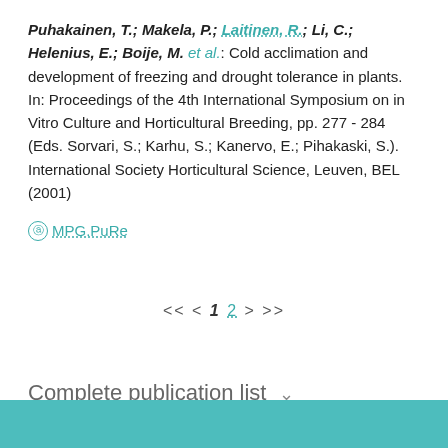Puhakainen, T.; Makela, P.; Laitinen, R.; Li, C.; Helenius, E.; Boije, M. et al.: Cold acclimation and development of freezing and drought tolerance in plants. In: Proceedings of the 4th International Symposium on in Vitro Culture and Horticultural Breeding, pp. 277 - 284 (Eds. Sorvari, S.; Karhu, S.; Kanervo, E.; Pihakaski, S.). International Society Horticultural Science, Leuven, BEL (2001)
MPG.PuRe
<< < 1 2 > >>
Complete publication list